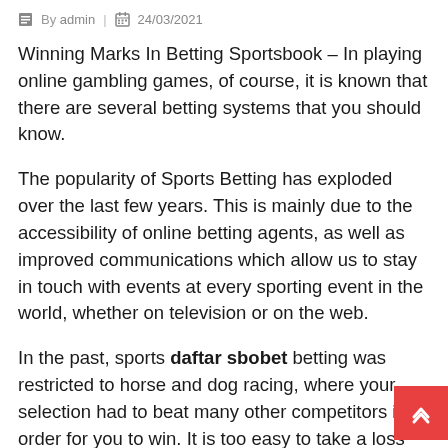By admin | 24/03/2021
Winning Marks In Betting Sportsbook – In playing online gambling games, of course, it is known that there are several betting systems that you should know.
The popularity of Sports Betting has exploded over the last few years. This is mainly due to the accessibility of online betting agents, as well as improved communications which allow us to stay in touch with events at every sporting event in the world, whether on television or on the web.
In the past, sports daftar sbobet betting was restricted to horse and dog racing, where your selection had to beat many other competitors in order for you to win. It is too easy to take a loss that will eat up your funds, even when you